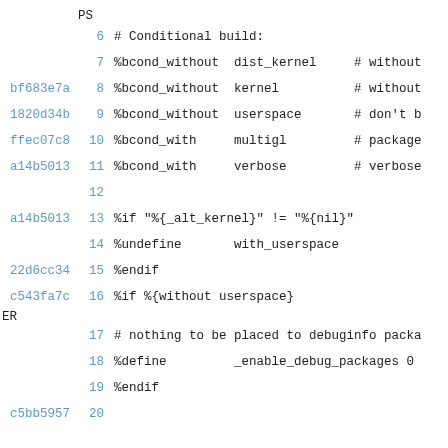[Figure (screenshot): Code diff/blame view showing lines 6-20 of a spec file with conditional build macros. Left column shows commit hash in blue, middle column shows line numbers in blue, right column shows code content. Lines include %bcond_without and %bcond_with macros for dist_kernel, kernel, userspace, multigl, verbose, conditional %if blocks, %undefine, %endif, %define, and %if %{without userspace} block.]